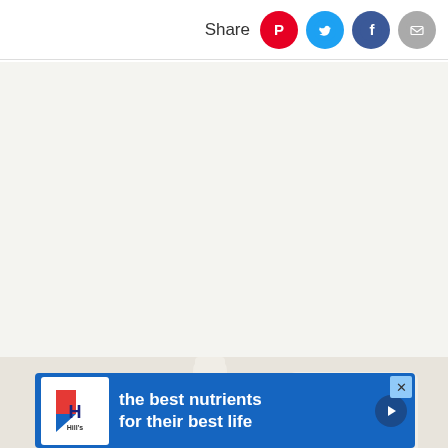Share
[Figure (photo): Bedroom scene showing a white wooden bed post and headboard, with a small green plant, against a neutral/cream wall background. An advertisement banner for Hill's Pet Nutrition overlays the bottom of the image reading 'the best nutrients for their best life'.]